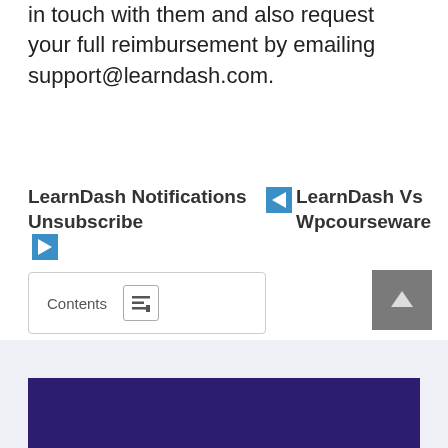in touch with them and also request your full reimbursement by emailing support@learndash.com.
LearnDash Notifications Unsubscribe
LearnDash Vs Wpcourseware
[Figure (screenshot): Contents toggle button with list icon]
[Figure (screenshot): Scroll to top button (gray) and blue footer bar with dark purple inner block]